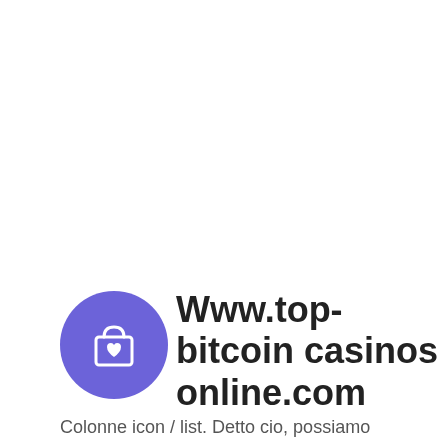[Figure (logo): Purple circle icon with a shopping bag and heart symbol]
Www.top-bitcoin casinos online.com
Colonne icon / list. Detto cio, possiamo